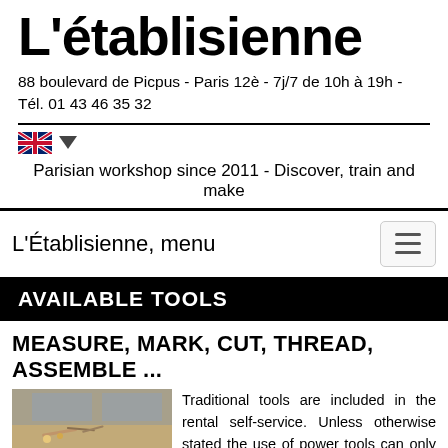L'établisienne
88 boulevard de Picpus - Paris 12è - 7j/7 de 10h à 19h - Tél. 01 43 46 35 32
[Figure (logo): UK flag icon with dropdown triangle for language selector]
Parisian workshop since 2011 - Discover, train and make
L'Établisienne, menu
AVAILABLE TOOLS
MEASURE, MARK, CUT, THREAD, ASSEMBLE ...
[Figure (photo): Wooden workbench with hand tools on top, photographed in workshop setting]
Traditional tools are included in the rental self-service. Unless otherwise stated the use of power tools can only be done on site.
The price for digital tools depends on